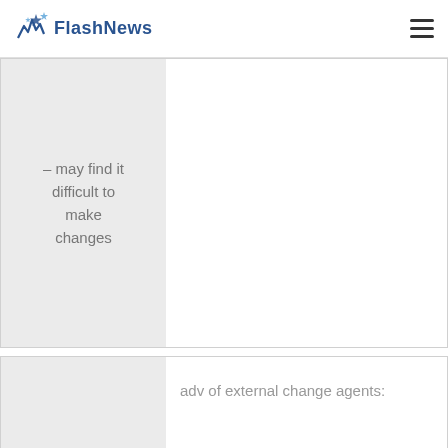FlashNews
| Left | Right |
| --- | --- |
| – may find it difficult to make changes |  |
| – outsider's objective view
– impartiality | adv of external change agents: |
| – limited knowledge of org's history | disadv of external change agents: |